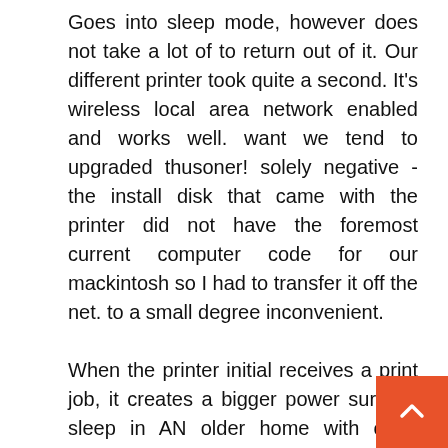Goes into sleep mode, however does not take a lot of to return out of it. Our different printer took quite a second. It's wireless local area network enabled and works well. want we tend to upgraded thusoner! solely negative - the install disk that came with the printer did not have the foremost current computer code for our mackintosh so I had to transfer it off the net. to a small degree inconvenient.

When the printer initial receives a print job, it creates a bigger power surge. I sleep in AN older home with older electrical wiring, and this surge causes the lights to dim and has even caused a microcomputer to show off. I contacted the manufacturer, and there's no thanks to alter this power surge through the printer settings. apart from that issue, the printer works splendidly. I hoo with the printer through multiple laptops and ever good phones, and haven't had any property problems